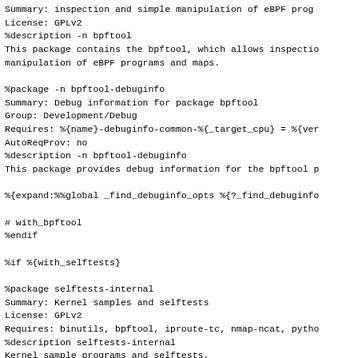Summary: inspection and simple manipulation of eBPF prog
License: GPLv2
%description -n bpftool
This package contains the bpftool, which allows inspectio
manipulation of eBPF programs and maps.
%package -n bpftool-debuginfo
Summary: Debug information for package bpftool
Group: Development/Debug
Requires: %{name}-debuginfo-common-%{_target_cpu} = %{ver
AutoReqProv: no
%description -n bpftool-debuginfo
This package provides debug information for the bpftool p
%{expand:%%global _find_debuginfo_opts %{?_find_debuginfo
# with_bpftool
%endif
%if %{with_selftests}
%package selftests-internal
Summary: Kernel samples and selftests
License: GPLv2
Requires: binutils, bpftool, iproute-tc, nmap-ncat, pytho
%description selftests-internal
Kernel sample programs and selftests.
# Note that this pattern only works right to match the .b
# symlinks because of the trailing nonmatching alternatio
# tho_loading_* because of find_debuginfo.sh's buggy ha